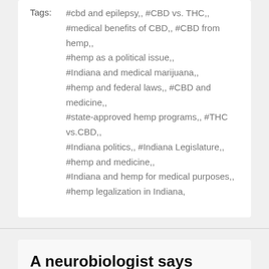Tags: #cbd and epilepsy,, #CBD vs. THC,, #medical benefits of CBD,, #CBD from hemp,, #hemp as a political issue,, #Indiana and medical marijuana,, #hemp and federal laws,, #CBD and medicine,, #state-approved hemp programs,, #THC vs.CBD,, #Indiana politics,, #Indiana Legislature,, #hemp and medicine,, #Indiana and hemp for medical purposes,, #hemp legalization in Indiana,
A neurobiologist says medical marijuana could solve the US opioid abuse crisis – Cannabis